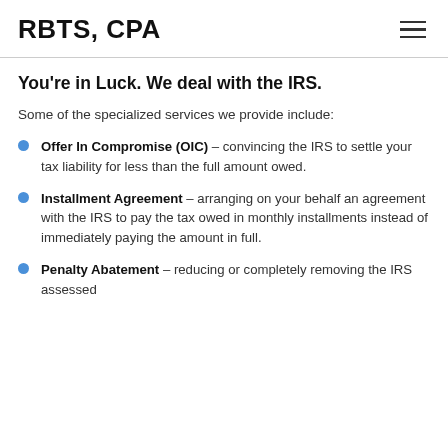RBTS, CPA
You're in Luck. We deal with the IRS.
Some of the specialized services we provide include:
Offer In Compromise (OIC) – convincing the IRS to settle your tax liability for less than the full amount owed.
Installment Agreement – arranging on your behalf an agreement with the IRS to pay the tax owed in monthly installments instead of immediately paying the amount in full.
Penalty Abatement – reducing or completely removing the IRS assessed